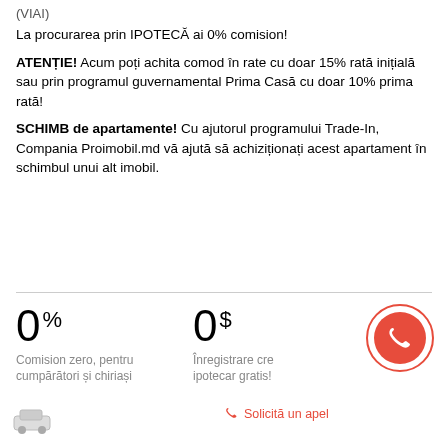(VIAI)
La procurarea prin IPOTECĂ ai 0% comision!
ATENȚIE! Acum poți achita comod în rate cu doar 15% rată inițială sau prin programul guvernamental Prima Casă cu doar 10% prima rată!
SCHIMB de apartamente! Cu ajutorul programului Trade-In, Compania Proimobil.md vă ajută să achiziționați acest apartament în schimbul unui alt imobil.
0% Comision zero, pentru cumpărători și chiriași
0$ Înregistrare credit ipotecar gratis!
Solicită un apel